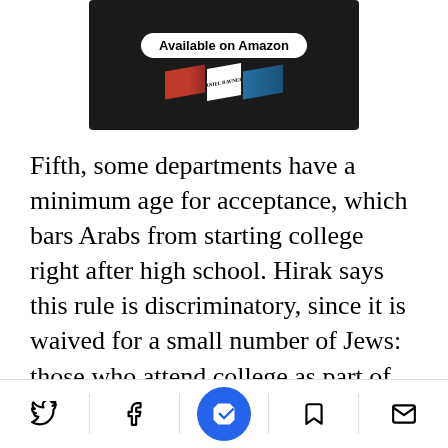[Figure (photo): Advertisement image showing a book available on Amazon with 'Available on Amazon' badge and 'Daniel Ravner' text on a dark background]
Fifth, some departments have a minimum age for acceptance, which bars Arabs from starting college right after high school. Hirak says this rule is discriminatory, since it is waived for a small number of Jews: those who attend college as part of their army service, under the army's atudai program.
Sixth, the entrance interview is generally conducted in Hebrew, which many Arabs don't
[Figure (other): Bottom navigation bar with Twitter, Facebook, NewsGuard, bookmark, and email icons]